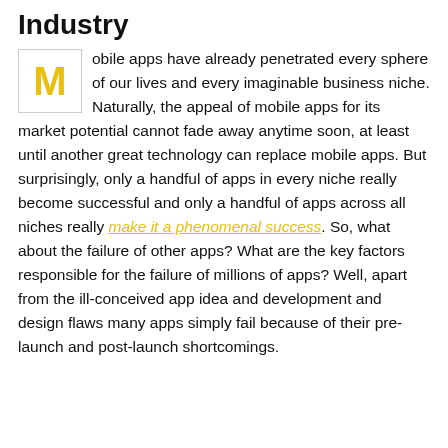Industry
Mobile apps have already penetrated every sphere of our lives and every imaginable business niche. Naturally, the appeal of mobile apps for its market potential cannot fade away anytime soon, at least until another great technology can replace mobile apps. But surprisingly, only a handful of apps in every niche really become successful and only a handful of apps across all niches really make it a phenomenal success. So, what about the failure of other apps? What are the key factors responsible for the failure of millions of apps? Well, apart from the ill-conceived app idea and development and design flaws many apps simply fail because of their pre-launch and post-launch shortcomings.